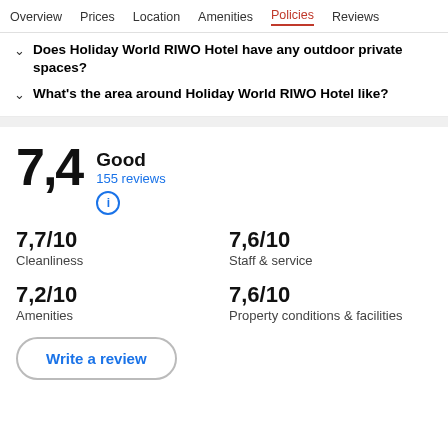Overview  Prices  Location  Amenities  Policies  Reviews
Does Holiday World RIWO Hotel have any outdoor private spaces?
What's the area around Holiday World RIWO Hotel like?
7,4  Good  155 reviews
7,7/10 Cleanliness
7,6/10 Staff & service
7,2/10 Amenities
7,6/10 Property conditions & facilities
Write a review